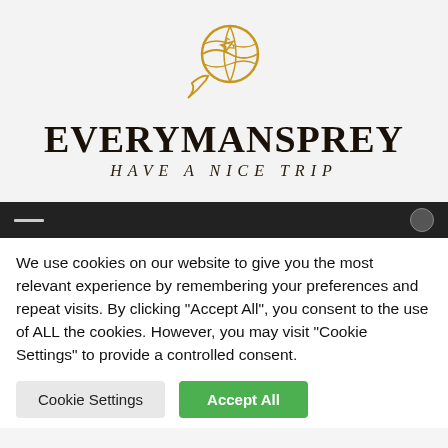[Figure (logo): Circular globe with airplane icon, drawn in golden/amber outline style — logo for Everymansprey travel website]
EVERYMANSPREY
HAVE A NICE TRIP
We use cookies on our website to give you the most relevant experience by remembering your preferences and repeat visits. By clicking "Accept All", you consent to the use of ALL the cookies. However, you may visit "Cookie Settings" to provide a controlled consent.